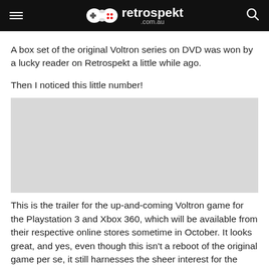retrospekt .com.au
A box set of the original Voltron series on DVD was won by a lucky reader on Retrospekt a little while ago.
Then I noticed this little number!
[Figure (other): Embedded video player placeholder (trailer for the Voltron game for Playstation 3 and Xbox 360)]
This is the trailer for the up-and-coming Voltron game for the Playstation 3 and Xbox 360, which will be available from their respective online stores sometime in October. It looks great, and yes, even though this isn't a reboot of the original game per se, it still harnesses the sheer interest for the nostalgic at heart!